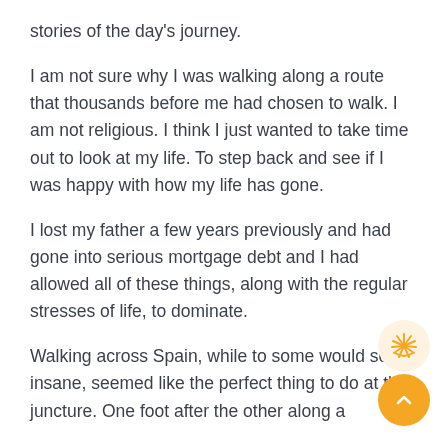stories of the day's journey.
I am not sure why I was walking along a route that thousands before me had chosen to walk. I am not religious. I think I just wanted to take time out to look at my life. To step back and see if I was happy with how my life has gone.
I lost my father a few years previously and had gone into serious mortgage debt and I had allowed all of these things, along with the regular stresses of life, to dominate.
Walking across Spain, while to some would seem insane, seemed like the perfect thing to do at this juncture. One foot after the other along a